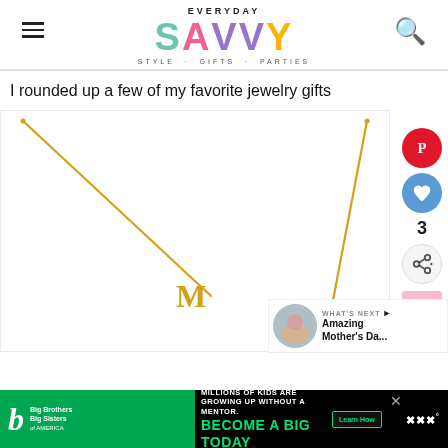EVERYDAY SAVVY · STYLE · GIFTS · PARTIES
I rounded up a few of my favorite jewelry gifts
[Figure (photo): Gold initial necklace with the letter M charm on a delicate gold chain, shown on white background. Social sharing buttons (Pinterest, heart/like, share) visible on the right side. A 'What's Next' preview box shows 'Amazing Mother's Da...' with a thumbnail.]
[Figure (infographic): Advertisement banner: Big Brothers Big Sisters 'Millions of kids are growing up without a mentor. Become a Big Today. Learn How.']